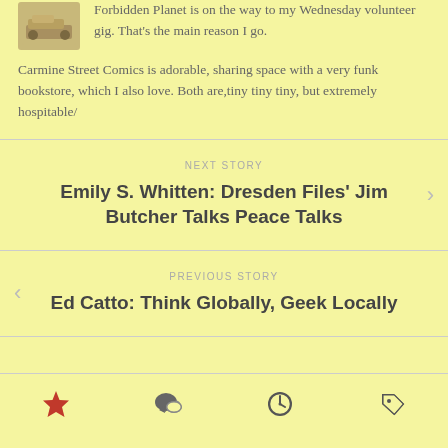Forbidden Planet is on the way to my Wednesday volunteer gig. That's the main reason I go.
Carmine Street Comics is adorable, sharing space with a very funk bookstore, which I also love. Both are,tiny tiny tiny, but extremely hospitable/
NEXT STORY
Emily S. Whitten: Dresden Files' Jim Butcher Talks Peace Talks
PREVIOUS STORY
Ed Catto: Think Globally, Geek Locally